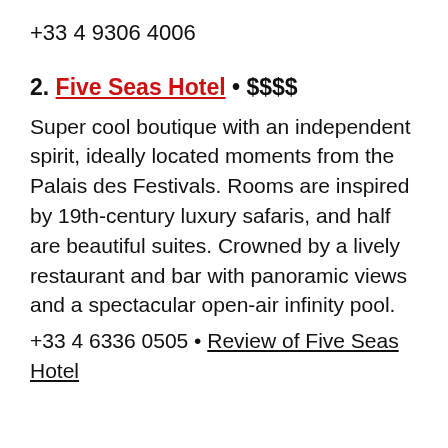+33 4 9306 4006
2. Five Seas Hotel • $$$$
Super cool boutique with an independent spirit, ideally located moments from the Palais des Festivals. Rooms are inspired by 19th-century luxury safaris, and half are beautiful suites. Crowned by a lively restaurant and bar with panoramic views and a spectacular open-air infinity pool.
+33 4 6336 0505 • Review of Five Seas Hotel